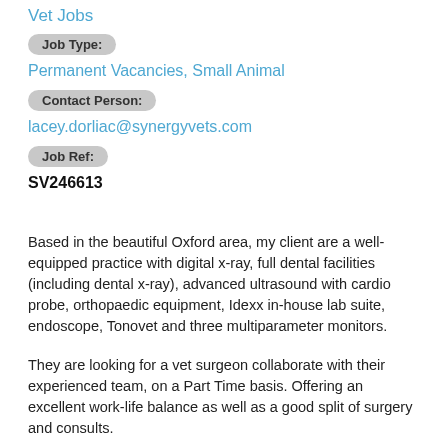Vet Jobs
Job Type:
Permanent Vacancies, Small Animal
Contact Person:
lacey.dorliac@synergyvets.com
Job Ref:
SV246613
Based in the beautiful Oxford area, my client are a well-equipped practice with digital x-ray, full dental facilities (including dental x-ray), advanced ultrasound with cardio probe, orthopaedic equipment, Idexx in-house lab suite, endoscope, Tonovet and three multiparameter monitors.
They are looking for a vet surgeon collaborate with their experienced team, on a Part Time basis. Offering an excellent work-life balance as well as a good split of surgery and consults.
There is some flexibility on the rota, however, they are ideally looking for 30/32 hours per week (either 8 hours for 4 days or 10 hours for 3 days). Monday, Thursday and Friday are preferred days.